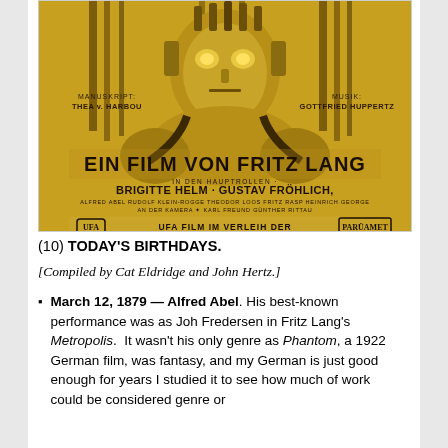[Figure (illustration): Movie poster for Metropolis by Fritz Lang, showing a robotic figure in gold/yellow tones. Text reads: MANUSKRIPT: THEA VON HARBOU, MUSIK: GOTTFRIED HUPPERTZ, EIN FILM VON FRITZ LANG, IN DEN HAUPTROLLEN: BRIGITTE HELM · GUSTAV FRÖHLICH, ALFRED ABEL, RUDOLF KLEIN-ROGGE, THEODOR LOOS, FRITZ RASP, HEINRICH GEORGE, AN DER KAMERA: KARL FREUND, GÜNTHER RITTAU, UFA FILM IM VERLEIH DER PARÜAMET]
(10) TODAY'S BIRTHDAYS.
[Compiled by Cat Eldridge and John Hertz.]
March 12, 1879 — Alfred Abel. His best-known performance was as Joh Fredersen in Fritz Lang's Metropolis.  It wasn't his only genre as Phantom, a 1922 German film, was fantasy, and my German is just good enough for years I studied it to see how much of work could be considered genre or